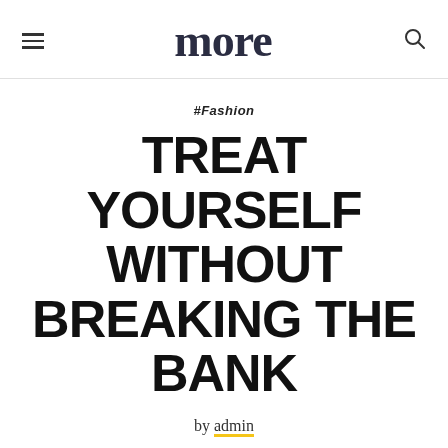more
#Fashion
TREAT YOURSELF WITHOUT BREAKING THE BANK
by admin
[Figure (photo): Close-up blurred photo of hands, warm tones of red, pink, and beige, appearing to show fingers or a hand gesture]